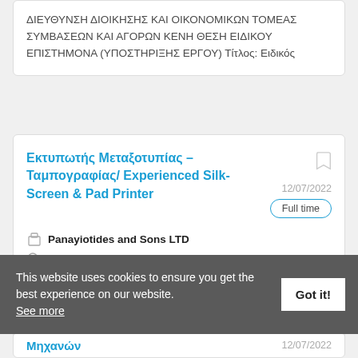ΔΙΕΥΘΥΝΣΗ ΔΙΟΙΚΗΣΗΣ ΚΑΙ ΟΙΚΟΝΟΜΙΚΩΝ ΤΟΜΕΑΣ ΣΥΜΒΑΣΕΩΝ ΚΑΙ ΑΓΟΡΩΝ ΚΕΝΗ ΘΕΣΗ ΕΙΔΙΚΟΥ ΕΠΙΣΤΗΜΟΝΑ (ΥΠΟΣΤΗΡΙΞΗΣ ΕΡΓΟΥ) Τίτλος: Ειδικός
Εκτυπωτής Μεταξοτυπίας – Ταμπογραφίας/ Experienced Silk-Screen & Pad Printer
12/07/2022
Full time
Panayiotides and Sons LTD
Nicosia, Cyprus
Η Panayotides and Sons Ltd ζητά να προσλάβει Εκτυπωτή Μεταξοτυπίας – Ταμπογραφίας/ Experienced Silk-Screen & Pad Printer στη Λευκωσία
This website uses cookies to ensure you get the best experience on our website. See more
Got it!
Μηχανών
12/07/2022